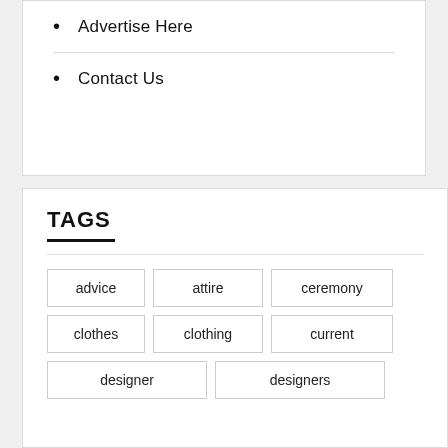Advertise Here
Contact Us
TAGS
advice
attire
ceremony
clothes
clothing
current
designer
designers